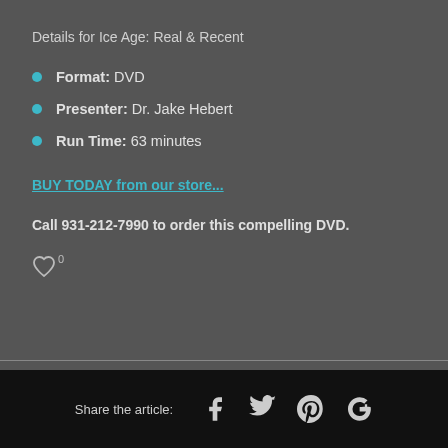Details for Ice Age: Real & Recent
Format: DVD
Presenter: Dr. Jake Hebert
Run Time: 63 minutes
BUY TODAY from our store...
Call 931-212-7990 to order this compelling DVD.
Share the article: